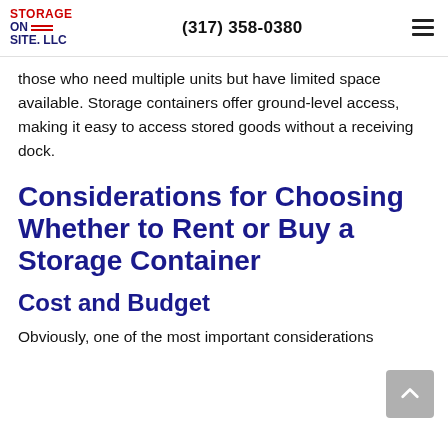Storage On Site, LLC | (317) 358-0380
those who need multiple units but have limited space available. Storage containers offer ground-level access, making it easy to access stored goods without a receiving dock.
Considerations for Choosing Whether to Rent or Buy a Storage Container
Cost and Budget
Obviously, one of the most important considerations